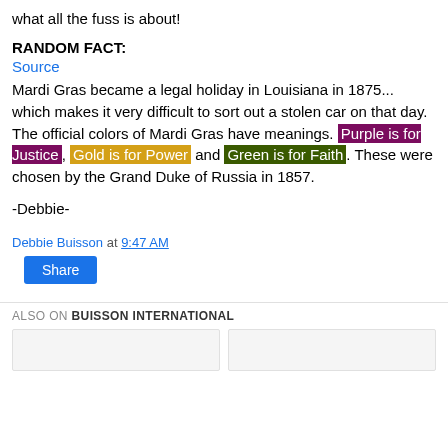what all the fuss is about!
RANDOM FACT:
Source
Mardi Gras became a legal holiday in Louisiana in 1875... which makes it very difficult to sort out a stolen car on that day.
The official colors of Mardi Gras have meanings. Purple is for Justice, Gold is for Power and Green is for Faith. These were chosen by the Grand Duke of Russia in 1857.
-Debbie-
Debbie Buisson at 9:47 AM
Share
ALSO ON BUISSON INTERNATIONAL